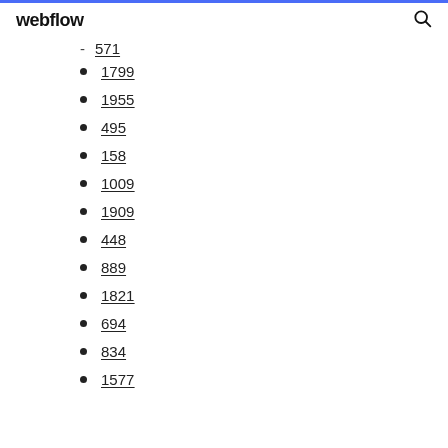webflow
571
1799
1955
495
158
1009
1909
448
889
1821
694
834
1577